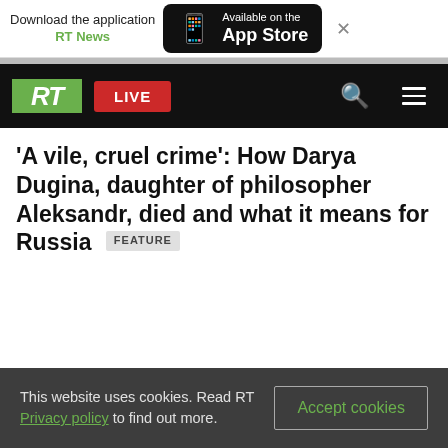Download the application RT News — Available on the App Store
RT LIVE
'A vile, cruel crime': How Darya Dugina, daughter of philosopher Aleksandr, died and what it means for Russia FEATURE
This website uses cookies. Read RT Privacy policy to find out more. Accept cookies